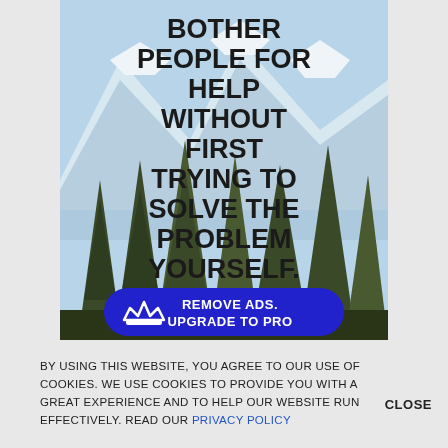[Figure (illustration): Motivational quote over a mountain landscape with pine trees and snow-capped peaks. Text reads: BOTHER PEOPLE FOR HELP WITHOUT FIRST TRYING TO SOLVE THE PROBLEM YOURSELF. Blue rounded button overlay: REMOVE ADS. UPGRADE TO PRO with crown icon.]
BY USING THIS WEBSITE, YOU AGREE TO OUR USE OF COOKIES. WE USE COOKIES TO PROVIDE YOU WITH A GREAT EXPERIENCE AND TO HELP OUR WEBSITE RUN EFFECTIVELY. READ OUR PRIVACY POLICY
CLOSE